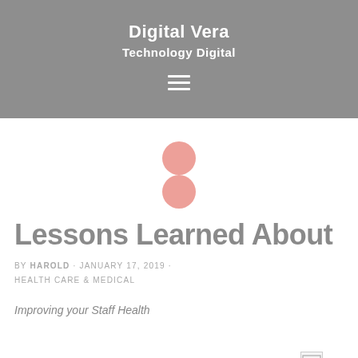Digital Vera
Technology Digital
[Figure (logo): Two overlapping salmon/pink circles forming a figure-8 or person icon logo]
Lessons Learned About
BY HAROLD · JANUARY 17, 2019 · HEALTH CARE & MEDICAL
Improving your Staff Health
[Figure (photo): Broken/missing image placeholder in lower right area]